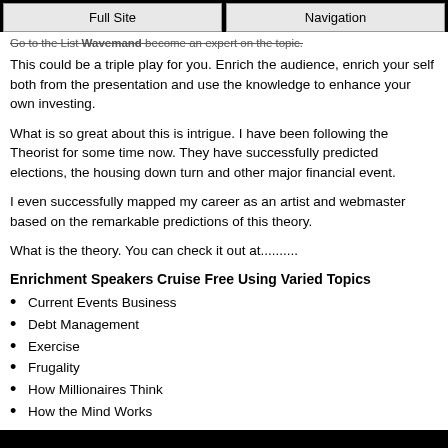Full Site | Navigation
Go to the List Wavemand become an expert on the topic.
This could be a triple play for you. Enrich the audience, enrich your self both from the presentation and use the knowledge to enhance your own investing.
What is so great about this is intrigue. I have been following the Theorist for some time now. They have successfully predicted elections, the housing down turn and other major financial event.
I even successfully mapped my career as an artist and webmaster based on the remarkable predictions of this theory.
What is the theory. You can check it out at..........
Enrichment Speakers Cruise Free Using Varied Topics
Current Events Business
Debt Management
Exercise
Frugality
How Millionaires Think
How the Mind Works